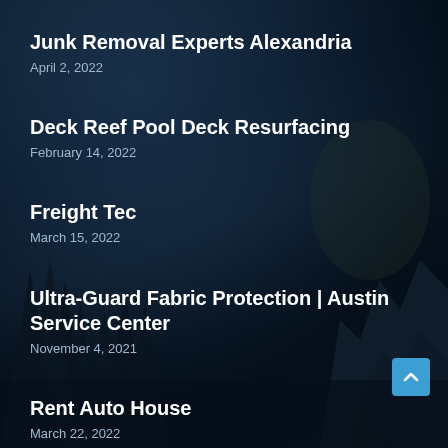Junk Removal Experts Alexandria
April 2, 2022
Deck Reef Pool Deck Resurfacing
February 14, 2022
Freight Tec
March 15, 2022
Ultra-Guard Fabric Protection | Austin Service Center
November 4, 2021
Rent Auto House
March 22, 2022